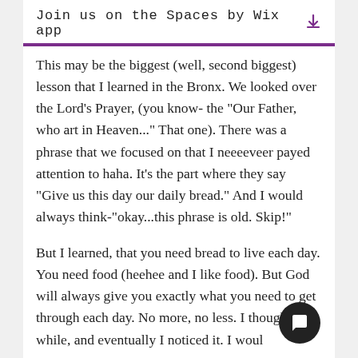Join us on the Spaces by Wix app
This may be the biggest (well, second biggest) lesson that I learned in the Bronx. We looked over the Lord's Prayer, (you know- the "Our Father, who art in Heaven..." That one). There was a phrase that we focused on that I neeeeveer payed attention to haha. It's the part where they say "Give us this day our daily bread." And I would always think-"okay...this phrase is old. Skip!"
But I learned, that you need bread to live each day. You need food (heehee and I like food). But God will always give you exactly what you need to get through each day. No more, no less. I thought this while, and eventually I noticed it. I would